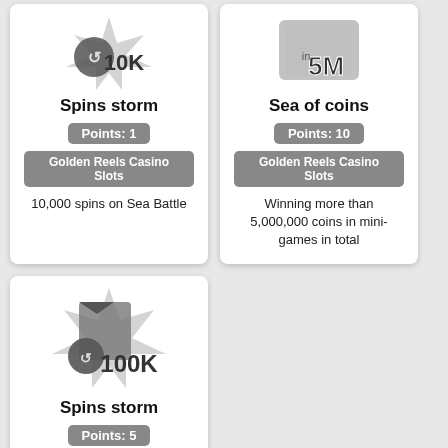[Figure (illustration): Game badge icon showing '10K' spins storm logo]
Spins storm
Points: 1
Golden Reels Casino Slots
10,000 spins on Sea Battle
[Figure (illustration): Game badge icon showing '5M' sea of coins logo]
Sea of coins
Points: 10
Golden Reels Casino Slots
Winning more than 5,000,000 coins in mini-games in total
[Figure (illustration): Game badge icon showing '100K' spins storm logo]
Spins storm
Points: 5
Golden Reels Casino Slots
100,000 spins on Sea Battle